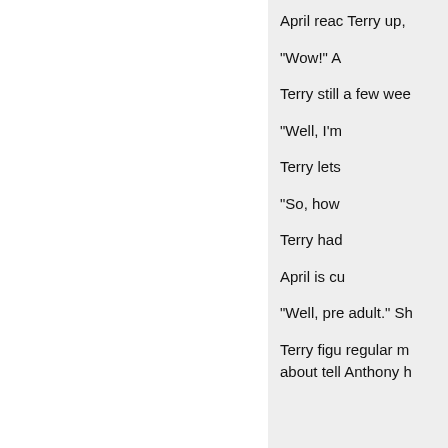April reac Terry up,
"Wow!" A
Terry still a few wee
"Well, I'm
Terry lets
"So, how
Terry had
April is cu
"Well, pre adult." Sh
Terry figu regular m about tell Anthony h